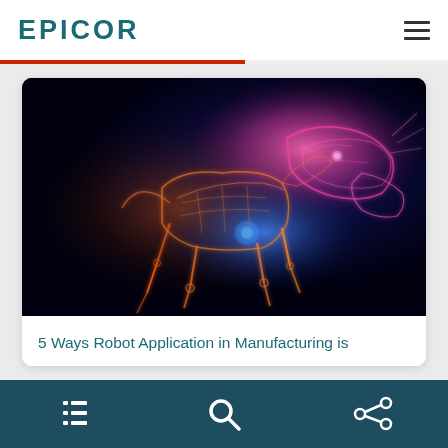EPICOR
[Figure (photo): A glowing wireframe/holographic robot dog rendered in orange and pink/purple light against a dark blue-black background, shown in a crouching or bending pose]
5 Ways Robot Application in Manufacturing is